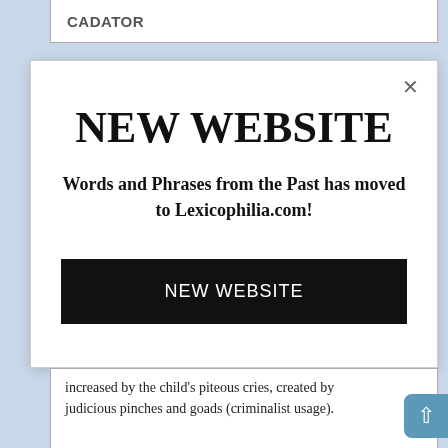CADATOR
NEW WEBSITE
Words and Phrases from the Past has moved to Lexicophilia.com!
NEW WEBSITE
increased by the child's piteous cries, created by judicious pinches and goads (criminalist usage).